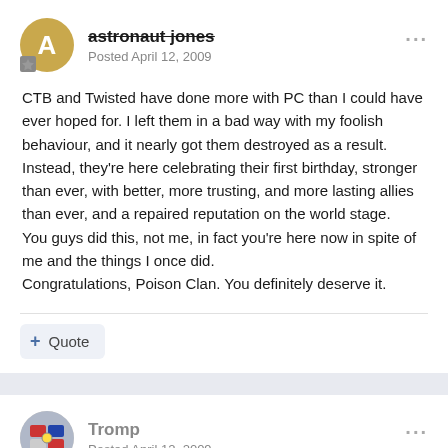astronaut jones — Posted April 12, 2009
CTB and Twisted have done more with PC than I could have ever hoped for. I left them in a bad way with my foolish behaviour, and it nearly got them destroyed as a result. Instead, they're here celebrating their first birthday, stronger than ever, with better, more trusting, and more lasting allies than ever, and a repaired reputation on the world stage.
You guys did this, not me, in fact you're here now in spite of me and the things I once did.
Congratulations, Poison Clan. You definitely deserve it.
Quote
Tromp — Posted April 12, 2009